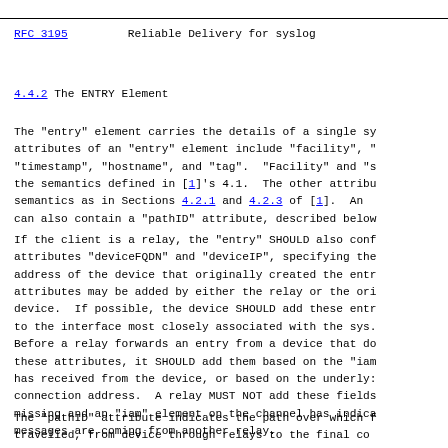RFC 3195    Reliable Delivery for syslog
4.4.2  The ENTRY Element
The "entry" element carries the details of a single sy attributes of an "entry" element include "facility", " "timestamp", "hostname", and "tag".  "Facility" and "s the semantics defined in [1]'s 4.1.  The other attribu semantics as in Sections 4.2.1 and 4.2.3 of [1].  An  can also contain a "pathID" attribute, described below
If the client is a relay, the "entry" SHOULD also conf attributes "deviceFQDN" and "deviceIP", specifying the address of the device that originally created the entr attributes may be added by either the relay or the ori device.  If possible, the device SHOULD add these entr to the interface most closely associated with the sys. Before a relay forwards an entry from a device that do these attributes, it SHOULD add them based on the "iam has received from the device, or based on the underly: connection address.  A relay MUST NOT add these fields missing and an "iam" element on the channel has indica messages are coming from another relay.
The "pathID" attribute indicates the path over which f travelled, from device through relays to the final co